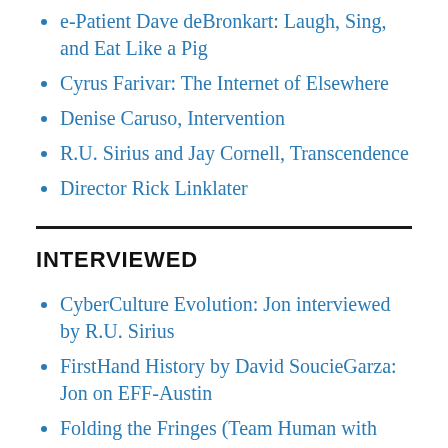e-Patient Dave deBronkart: Laugh, Sing, and Eat Like a Pig
Cyrus Farivar: The Internet of Elsewhere
Denise Caruso, Intervention
R.U. Sirius and Jay Cornell, Transcendence
Director Rick Linklater
INTERVIEWED
CyberCulture Evolution: Jon interviewed by R.U. Sirius
FirstHand History by David SoucieGarza: Jon on EFF-Austin
Folding the Fringes (Team Human with